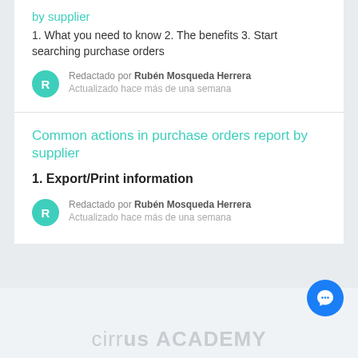by supplier
1. What you need to know 2. The benefits 3. Start searching purchase orders
Redactado por Rubén Mosqueda Herrera
Actualizado hace más de una semana
Common actions in purchase orders report by supplier
1. Export/Print information
Redactado por Rubén Mosqueda Herrera
Actualizado hace más de una semana
cirrus ACADEMY